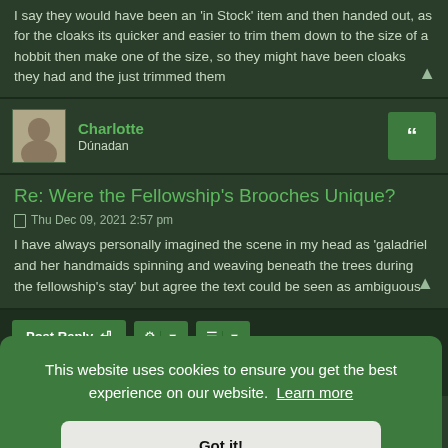I say they would have been an 'in Stock' item and then handed out, as for the cloaks its quicker and easier to trim them down to the size of a hobbit then make one of the size, so they might have been cloaks they had and the just trimmed them
Charlotte
Dúnadan
Re: Were the Fellowship's Brooches Unique?
Thu Dec 09, 2021 2:57 pm
I have always personally imagined the scene in my head as 'galadriel and her handmaids spinning and weaving beneath the trees during the fellowship's stay' but agree the text could be seen as ambiguous
Post Reply
This website uses cookies to ensure you get the best experience on our website. Learn more
Got it!